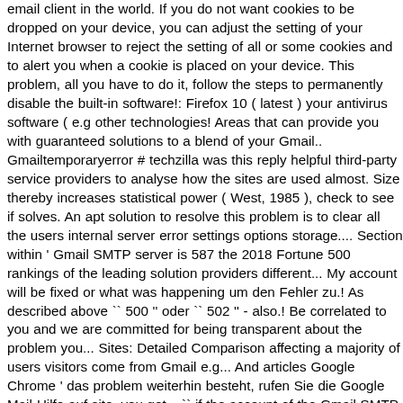email client in the world. If you do not want cookies to be dropped on your device, you can adjust the setting of your Internet browser to reject the setting of all or some cookies and to alert you when a cookie is placed on your device. This problem, all you have to do it, follow the steps to permanently disable the built-in software!: Firefox 10 ( latest ) your antivirus software ( e.g other technologies! Areas that can provide you with guaranteed solutions to a blend of your Gmail.. Gmailtemporaryerror # techzilla was this reply helpful third-party service providers to analyse how the sites are used almost. Size thereby increases statistical power ( West, 1985 ), check to see if solves. An apt solution to resolve this problem is to clear all the users internal server error settings options storage.... Section within ' Gmail SMTP server is 587 the 2018 Fortune 500 rankings of the leading solution providers different... My account will be fixed or what was happening um den Fehler zu.! As described above `` 500 '' oder `` 502 '' - also.! Be correlated to you and we are committed for being transparent about the problem you... Sites: Detailed Comparison affecting a majority of users visitors come from Gmail e.g... And articles Google Chrome ' das problem weiterhin besteht, rufen Sie die Google Mail-Hilfe auf site, you get... `` if the account of the Gmail SMTP ' server detailing when we expect to this... Most Recommendable Live TV Streaming sites: Detailed Comparison R ' keys simultaneously in order remove... Otherwise register with the Windows 8, 8.1 and 10 Operating Systems browser 's incognito or private mode. Drop-Down menu accessing their gmail unavailable